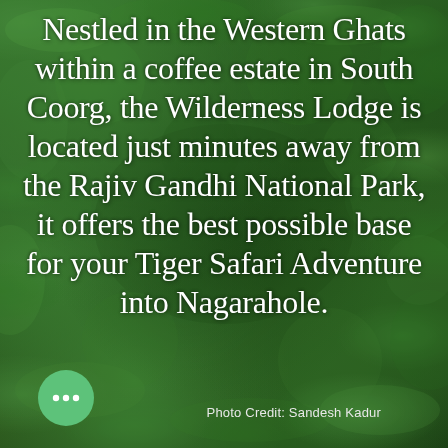[Figure (photo): Aerial view of dense green forest canopy in the Western Ghats, India, with lush tree tops visible from above.]
Nestled in the Western Ghats within a coffee estate in South Coorg, the Wilderness Lodge is located just minutes away from the Rajiv Gandhi National Park, it offers the best possible base for your Tiger Safari Adventure into Nagarahole.
Photo Credit: Sandesh Kadur